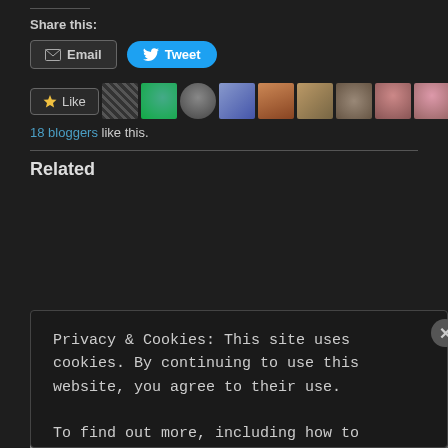Share this:
[Figure (screenshot): Email and Tweet share buttons]
[Figure (screenshot): Like button with 10 blogger avatars and '18 bloggers like this.' text]
Related
Privacy & Cookies: This site uses cookies. By continuing to use this website, you agree to their use. To find out more, including how to control cookies, see here: Cookie Policy
Close and accept